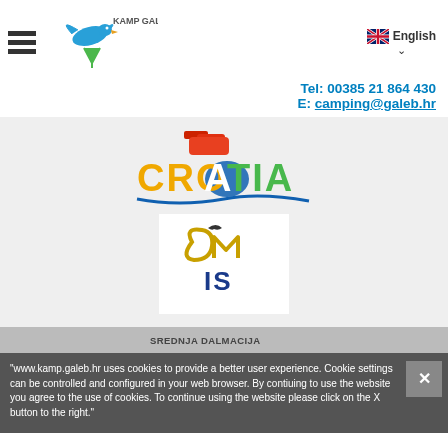[Figure (logo): Kamp Galeb logo with seagull and tent icon, text KAMP GALEB]
English
Tel: 00385 21 864 430
E: camping@galeb.hr
[Figure (logo): Croatia tourism logo with colorful lettering]
[Figure (logo): Omis logo with stylized OM and IS text]
"www.kamp.galeb.hr uses cookies to provide a better user experience. Cookie settings can be controlled and configured in your web browser. By contiuing to use the website you agree to the use of cookies. To continue using the website please click on the X button to the right."